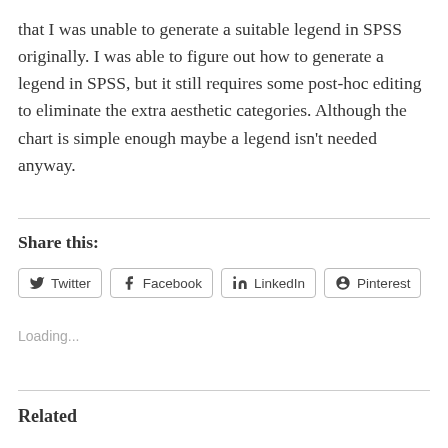that I was unable to generate a suitable legend in SPSS originally. I was able to figure out how to generate a legend in SPSS, but it still requires some post-hoc editing to eliminate the extra aesthetic categories. Although the chart is simple enough maybe a legend isn't needed anyway.
Share this:
Twitter | Facebook | LinkedIn | Pinterest
Loading...
Related